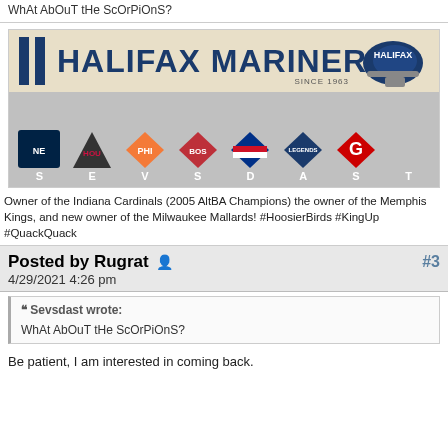WhAt AbOuT tHe ScOrPiOnS?
[Figure (illustration): Halifax Mariners forum banner image with two blue vertical stripes, bold navy text reading HALIFAX MARINERS, a navy football helmet on the right, and text SINCE 1963. Below is a strip of sports team logos with letters spelling SEVSDAST.]
Owner of the Indiana Cardinals (2005 AltBA Champions) the owner of the Memphis Kings, and new owner of the Milwaukee Mallards! #HoosierBirds #KingUp #QuackQuack
Posted by Rugrat
4/29/2021 4:26 pm
#3
Sevsdast wrote:
WhAt AbOuT tHe ScOrPiOnS?
Be patient, I am interested in coming back.